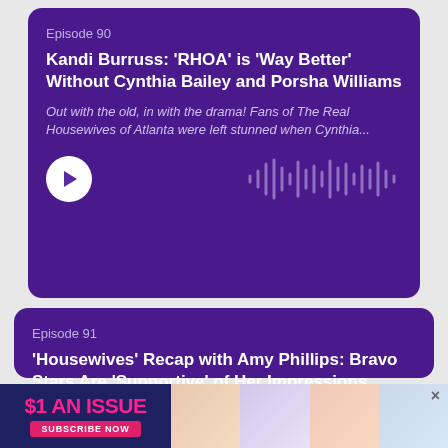Episode 90
Kandi Burruss: 'RHOA' is 'Way Better' Without Cynthia Bailey and Porsha Williams
Out with the old, in with the drama! Fans of The Real Housewives of Atlanta were left stunned when Cynthia...
[Figure (other): Play button (circle with triangle) and audio waveform visualization]
Episode 91
'Housewives' Recap with Amy Phillips: Bravo Stars Are 'Supportive' of Her Impressions
Comedian and impressionist Amy Phillips may not be a member of the Real Housewives franchise, but she can...
[Figure (infographic): $1 AN ISSUE - SUBSCRIBE NOW advertisement banner for Us Weekly magazine]